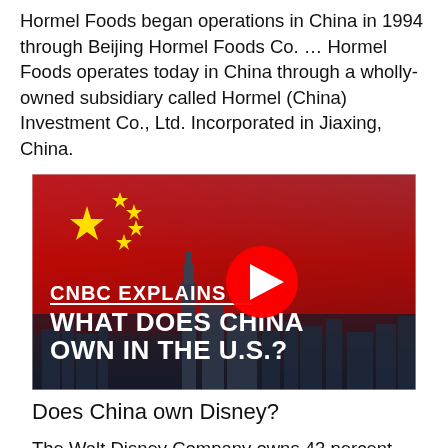Hormel Foods began operations in China in 1994 through Beijing Hormel Foods Co. … Hormel Foods operates today in China through a wholly-owned subsidiary called Hormel (China) Investment Co., Ltd. Incorporated in Jiaxing, China.
[Figure (screenshot): CNBC Explains video thumbnail showing Chinese flag overlaid on a city skyline with text 'WHAT DOES CHINA OWN IN THE U.S.?' and a YouTube play button in the center.]
Does China own Disney?
The Walt Disney Company owns 43 percent...